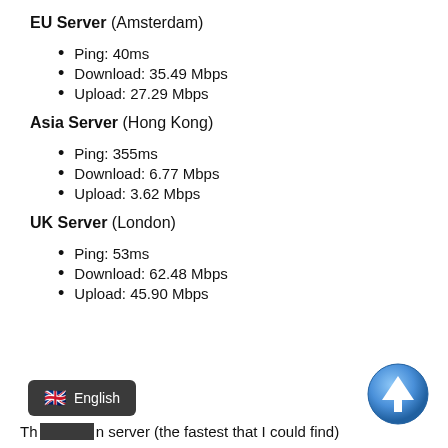EU Server (Amsterdam)
Ping: 40ms
Download: 35.49 Mbps
Upload: 27.29 Mbps
Asia Server (Hong Kong)
Ping: 355ms
Download: 6.77 Mbps
Upload: 3.62 Mbps
UK Server (London)
Ping: 53ms
Download: 62.48 Mbps
Upload: 45.90 Mbps
Th… server (the fastest that I could find)